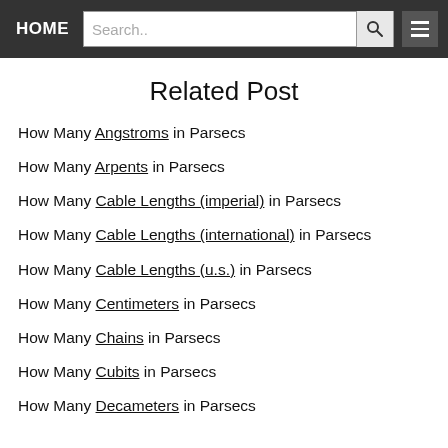HOME | Search.. | [search button] | [menu button]
Related Post
How Many Angstroms in Parsecs
How Many Arpents in Parsecs
How Many Cable Lengths (imperial) in Parsecs
How Many Cable Lengths (international) in Parsecs
How Many Cable Lengths (u.s.) in Parsecs
How Many Centimeters in Parsecs
How Many Chains in Parsecs
How Many Cubits in Parsecs
How Many Decameters in Parsecs